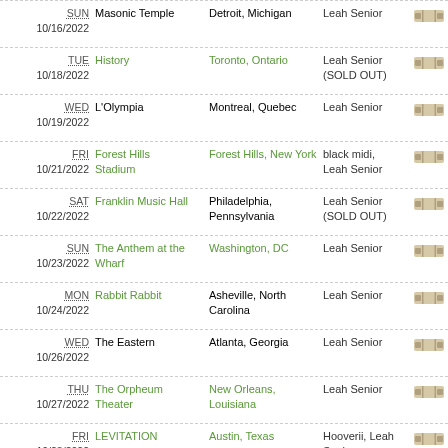| Day/Date | Venue | City | Support | Tickets |
| --- | --- | --- | --- | --- |
| SUN
10/16/2022 | Masonic Temple | Detroit, Michigan | Leah Senior |  |
| TUE
10/18/2022 | History | Toronto, Ontario | Leah Senior (SOLD OUT) |  |
| WED
10/19/2022 | L'Olympia | Montreal, Quebec | Leah Senior |  |
| FRI
10/21/2022 | Forest Hills Stadium | Forest Hills, New York | black midi, Leah Senior |  |
| SAT
10/22/2022 | Franklin Music Hall | Philadelphia, Pennsylvania | Leah Senior (SOLD OUT) |  |
| SUN
10/23/2022 | The Anthem at the Wharf | Washington, DC | Leah Senior |  |
| MON
10/24/2022 | Rabbit Rabbit | Asheville, North Carolina | Leah Senior |  |
| WED
10/26/2022 | The Eastern | Atlanta, Georgia | Leah Senior |  |
| THU
10/27/2022 | The Orpheum Theater | New Orleans, Louisiana | Leah Senior |  |
| FRI
10/28/2022 | LEVITATION | Austin, Texas | Hooverii, Leah Senior |  |
| SAT
10/29/2022 | LEVITATION | Austin, Texas | The Murlocs, Tropical Fuck Storm |  |
| MON
10/31/2022 | The Criterion | Oklahoma City, | The Murlocs, |  |